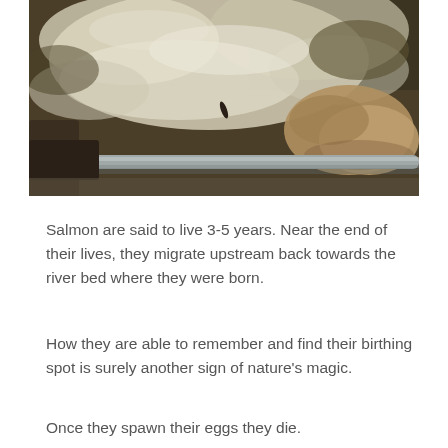[Figure (photo): A close-up photograph of turbulent, foamy water near a dam or weir. A metal railing is visible in the foreground. Rocks and churning white water fill the background. A small fish can be seen leaping through the water.]
Salmon are said to live 3-5 years. Near the end of their lives, they migrate upstream back towards the river bed where they were born.
How they are able to remember and find their birthing spot is surely another sign of nature's magic.
Once they spawn their eggs they die.